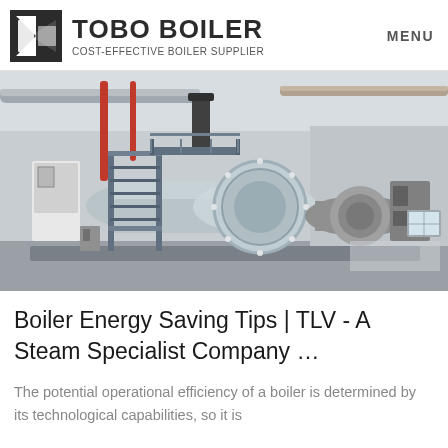TOBO BOILER | COST-EFFECTIVE BOILER SUPPLIER | MENU
[Figure (photo): Industrial boiler room with large horizontal cylindrical boilers on metal frames, pipes on ceiling, grey and blue color scheme]
Boiler Energy Saving Tips | TLV - A Steam Specialist Company …
The potential operational efficiency of a boiler is determined by its technological capabilities, so it is